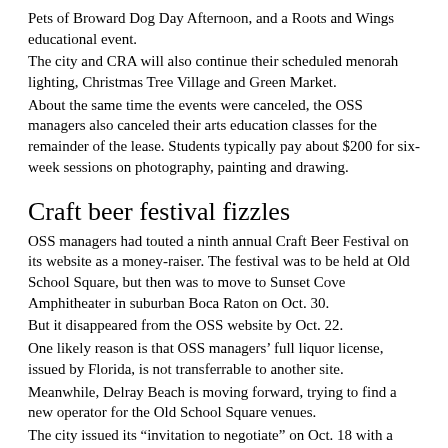Pets of Broward Dog Day Afternoon, and a Roots and Wings educational event.
The city and CRA will also continue their scheduled menorah lighting, Christmas Tree Village and Green Market.
About the same time the events were canceled, the OSS managers also canceled their arts education classes for the remainder of the lease. Students typically pay about $200 for six-week sessions on photography, painting and drawing.
Craft beer festival fizzles
OSS managers had touted a ninth annual Craft Beer Festival on its website as a money-raiser. The festival was to be held at Old School Square, but then was to move to Sunset Cove Amphitheater in suburban Boca Raton on Oct. 30.
But it disappeared from the OSS website by Oct. 22.
One likely reason is that OSS managers’ full liquor license, issued by Florida, is not transferrable to another site.
Meanwhile, Delray Beach is moving forward, trying to find a new operator for the Old School Square venues.
The city issued its “invitation to negotiate” on Oct. 18 with a mandatory pre-proposal session at 10 a.m. Nov. 5. Bids must be submitted by 5 p.m. Dec. 17.
The current OSS managers won’t be bidding, Brinkman told other news outlets without explaining why.